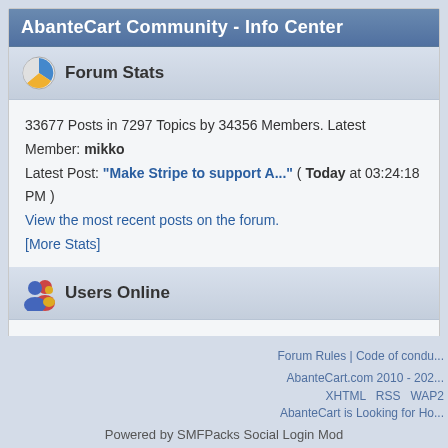AbanteCart Community - Info Center
Forum Stats
33677 Posts in 7297 Topics by 34356 Members. Latest Member: mikko
Latest Post: "Make Stripe to support A..." ( Today at 03:24:18 PM )
View the most recent posts on the forum.
[More Stats]
Users Online
115 Guests, 0 Users
Most Online Today: 134. Most Online Ever: 1395 (January 18, 2021, 04:27:39 PM)
Forum Rules | Code of condu...
AbanteCart.com 2010 - 202...
XHTML  RSS  WAP2
AbanteCart is Looking for Ho...
Powered by SMFPacks Social Login Mod